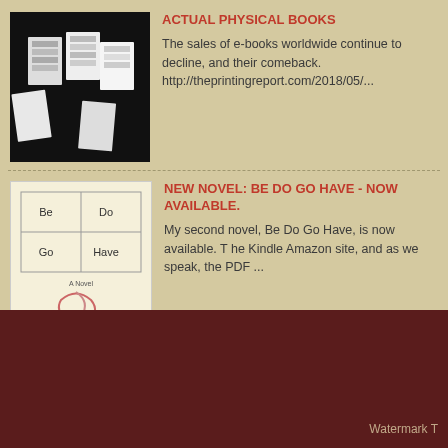ACTUAL PHYSICAL BOOKS
The sales of e-books worldwide continue to decline, and their comeback. http://theprintingreport.com/2018/05/...
NEW NOVEL: BE DO GO HAVE - NOW AVAILABLE.
My second novel, Be Do Go Have, is now available. T he Kindle Amazon site, and as we speak, the PDF ...
THEY STOLE MY BIKE; POEM.
They stole my bike (the motherfuckers); One week in the city afternoon, to find that all that was left  of ...
Watermark T